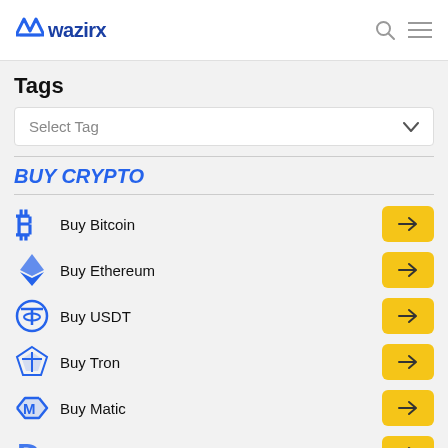wazirx
Tags
Select Tag
BUY CRYPTO
Buy Bitcoin
Buy Ethereum
Buy USDT
Buy Tron
Buy Matic
Buy Dogecoin